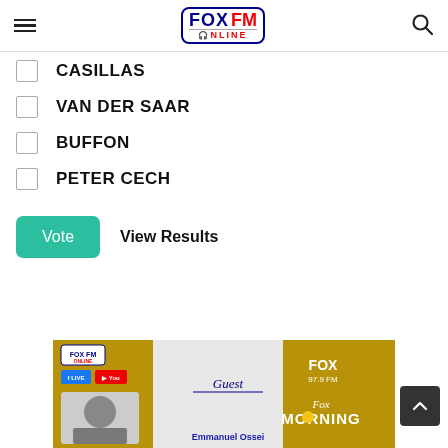FOX FM ONLINE — navigation header with hamburger menu, logo, and search icon
CASILLAS
VAN DER SAAR
BUFFON
PETER CECH
Vote | View Results
[Figure (screenshot): FOX FM Online morning show banner featuring Fox 97.9 FM logo, Fox Morning branding, Guest label, Facebook Live and YouTube icons, and a thumbnail of Emmanuel Ossei]